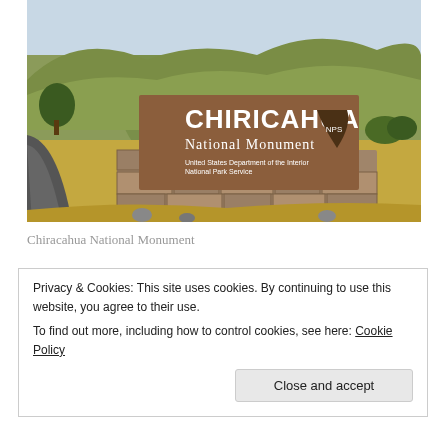[Figure (photo): Entrance sign for Chiricahua National Monument mounted on a stone wall structure. The brown wooden sign reads 'CHIRICAHUA National Monument' with the National Park Service arrowhead logo. Behind the sign are dry golden hills and a road on the left.]
Chiracahua National Monument
Privacy & Cookies: This site uses cookies. By continuing to use this website, you agree to their use.
To find out more, including how to control cookies, see here: Cookie Policy
Close and accept